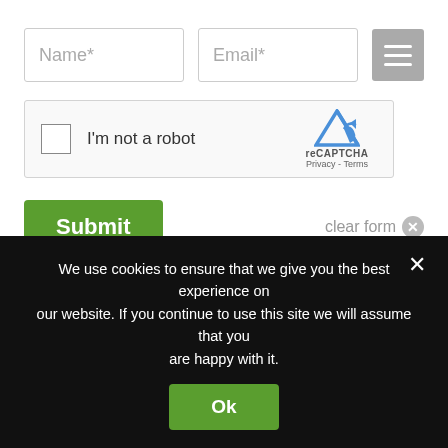[Figure (screenshot): Web form with Name* and Email* input fields, a hamburger menu icon, reCAPTCHA widget, Submit button, clear form link, and email signup text]
Yes, I would like to receive emails from HOBI International. Sign me up!
We use cookies to ensure that we give you the best experience on our website. If you continue to use this site we will assume that you are happy with it.